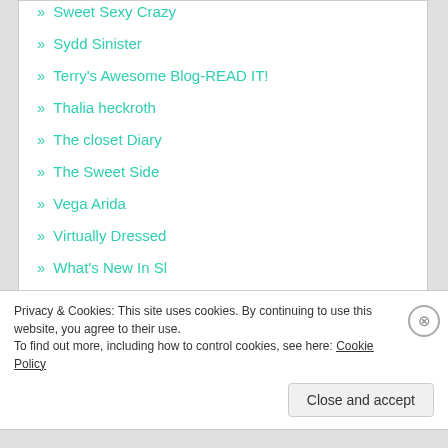» Sweet Sexy Crazy
» Sydd Sinister
» Terry's Awesome Blog-READ IT!
» Thalia heckroth
» The closet Diary
» The Sweet Side
» Vega Arida
» Virtually Dressed
» What's New In Sl
» Who Let The Dorks Out
Privacy & Cookies: This site uses cookies. By continuing to use this website, you agree to their use.
To find out more, including how to control cookies, see here: Cookie Policy
Close and accept